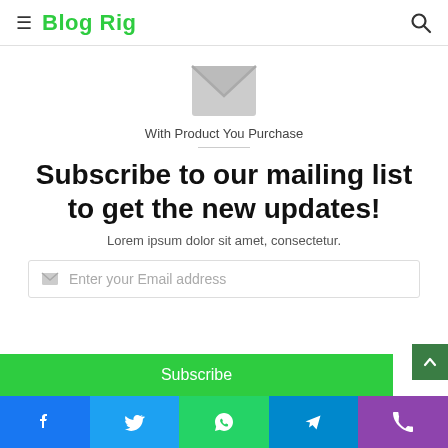Blog Rig
[Figure (illustration): Envelope/mail icon in gray]
With Product You Purchase
Subscribe to our mailing list to get the new updates!
Lorem ipsum dolor sit amet, consectetur.
Enter your Email address
Subscribe
Facebook | Twitter | WhatsApp | Telegram | Phone